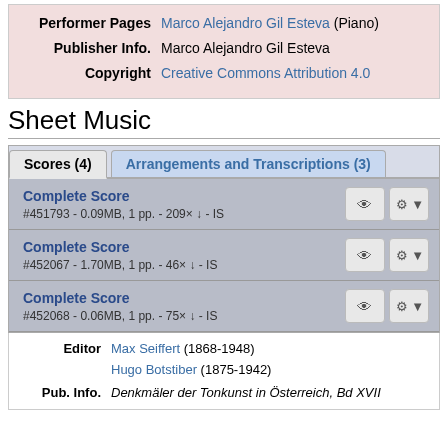| Label | Value |
| --- | --- |
| Performer Pages | Marco Alejandro Gil Esteva (Piano) |
| Publisher Info. | Marco Alejandro Gil Esteva |
| Copyright | Creative Commons Attribution 4.0 |
Sheet Music
Scores (4)
Arrangements and Transcriptions (3)
Complete Score
#451793 - 0.09MB, 1 pp. - 209× ↓ - IS
Complete Score
#452067 - 1.70MB, 1 pp. - 46× ↓ - IS
Complete Score
#452068 - 0.06MB, 1 pp. - 75× ↓ - IS
| Label | Value |
| --- | --- |
| Editor | Max Seiffert (1868-1948)
Hugo Botstiber (1875-1942) |
| Pub. Info. | Denkmäler der Tonkunst in Österreich, Bd XVII |